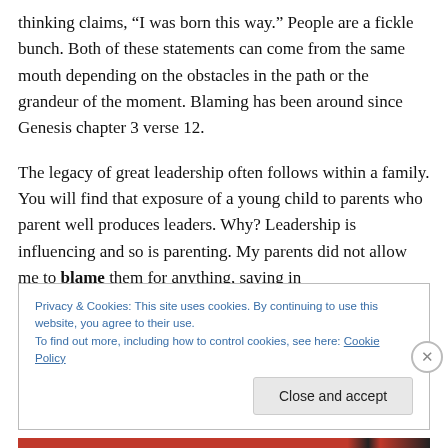thinking claims, “I was born this way.” People are a fickle bunch. Both of these statements can come from the same mouth depending on the obstacles in the path or the grandeur of the moment. Blaming has been around since Genesis chapter 3 verse 12.
The legacy of great leadership often follows within a family. You will find that exposure of a young child to parents who parent well produces leaders. Why? Leadership is influencing and so is parenting. My parents did not allow me to blame them for anything, saying in
Privacy & Cookies: This site uses cookies. By continuing to use this website, you agree to their use.
To find out more, including how to control cookies, see here: Cookie Policy